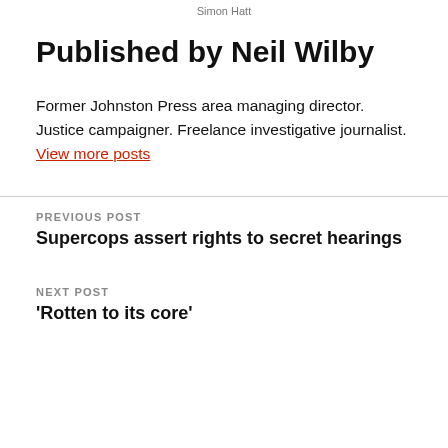Simon Hatt
Published by Neil Wilby
Former Johnston Press area managing director. Justice campaigner. Freelance investigative journalist. View more posts
PREVIOUS POST
Supercops assert rights to secret hearings
NEXT POST
'Rotten to its core'